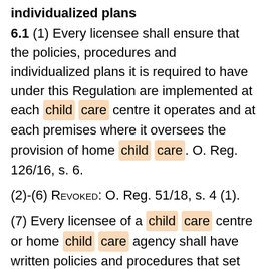individualized plans
6.1 (1) Every licensee shall ensure that the policies, procedures and individualized plans it is required to have under this Regulation are implemented at each child care centre it operates and at each premises where it oversees the provision of home child care. O. Reg. 126/16, s. 6.
(2)-(6) Revoked: O. Reg. 51/18, s. 4 (1).
(7) Every licensee of a child care centre or home child care agency shall have written policies and procedures that set out,
1043 result(s) prev next with the policies, procedures and individualized plans will be